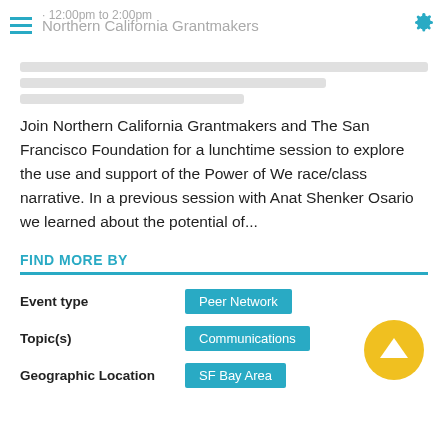Northern California Grantmakers
12:00pm to 2:00pm
Join Northern California Grantmakers and The San Francisco Foundation for a lunchtime session to explore the use and support of the Power of We race/class narrative. In a previous session with Anat Shenker Osario we learned about the potential of...
FIND MORE BY
Event type   Peer Network
Topic(s)   Communications
Geographic Location   SF Bay Area